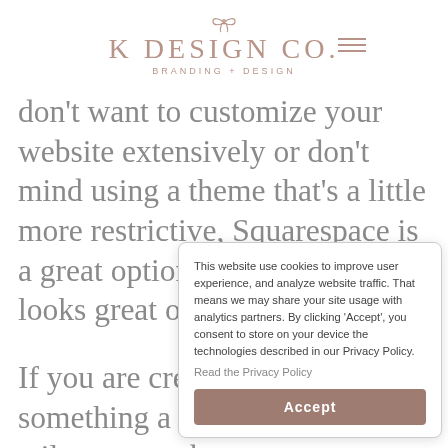[Figure (logo): K Design Co. Branding + Design logo with decorative bow icon above the text]
don't want to customize your website extensively or don't mind using a theme that's a little more restrictive, Squarespace is a great option for a website that looks great out of the [box]
If you are creative [and want] something a little [more] tailor to your bra[nd and] fits your persona[lity]
This website use cookies to improve user experience, and analyze website traffic. That means we may share your site usage with analytics partners. By clicking 'Accept', you consent to store on your device the technologies described in our Privacy Policy.
Read the Privacy Policy
Accept